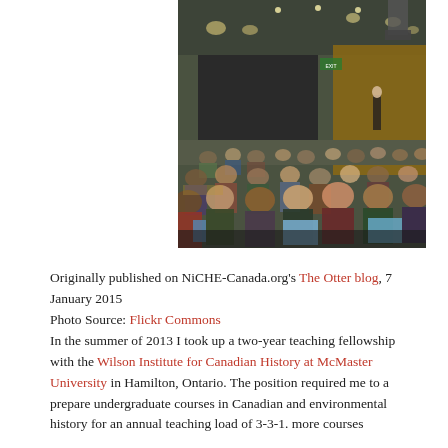[Figure (photo): Large university lecture hall filled with students using laptops, viewed from the back, with a professor standing at the front podium.]
Originally published on NiCHE-Canada.org's The Otter blog, 7 January 2015
Photo Source: Flickr Commons
In the summer of 2013 I took up a two-year teaching fellowship with the Wilson Institute for Canadian History at McMaster University in Hamilton, Ontario. The position required me to a prepare undergraduate courses in Canadian and environmental history for an annual teaching load of 3-3-1. more courses